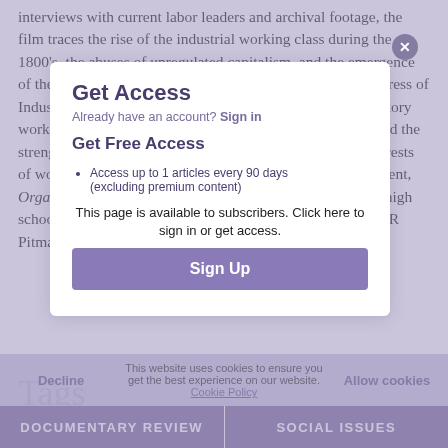interviews with current labor leaders and archival footage, the film traces the rise of the industrial working class during the 1800's, the abuses of unregulated capitalism, and the emergence of the AFL (American Federation of Labor) and CIO (Congress of Industrial Organizations) to meet the needs of guild and factory workers, respectively. The AFL-CIO merger in 1955 doubled the strength of the unions as they continued to advance the interests of workers in post-WWII America. A good historical treatment, Organizing America is recommended for junior and senior high school libraries as well as larger public library collections. (R Pitman)
[Figure (screenshot): A modal overlay with 'Get Access' header, sign-in link, 'Get Free Access' option with bullet point about accessing up to 1 article every 90 days (excluding premium content), subscriber message, and a 'Sign Up' button. A cookie consent bar is visible with 'Decline' and 'Allow cookies' options.]
Tags
DOCUMENTARY REVIEW
SOCIAL ISSUES